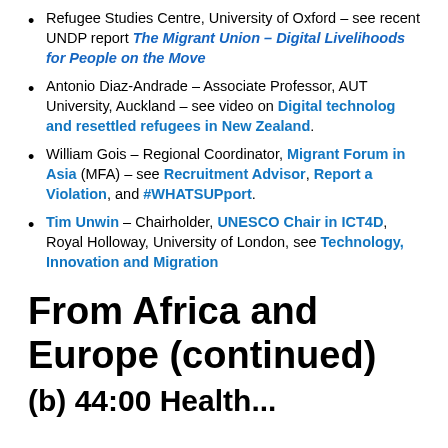Refugee Studies Centre, University of Oxford – see recent UNDP report The Migrant Union – Digital Livelihoods for People on the Move
Antonio Diaz-Andrade – Associate Professor, AUT University, Auckland – see video on Digital technolog and resettled refugees in New Zealand.
William Gois – Regional Coordinator, Migrant Forum in Asia (MFA) – see Recruitment Advisor, Report a Violation, and #WHATSUPport.
Tim Unwin – Chairholder, UNESCO Chair in ICT4D, Royal Holloway, University of London, see Technology, Innovation and Migration
From Africa and Europe (continued)
(b) 44:00 Health...